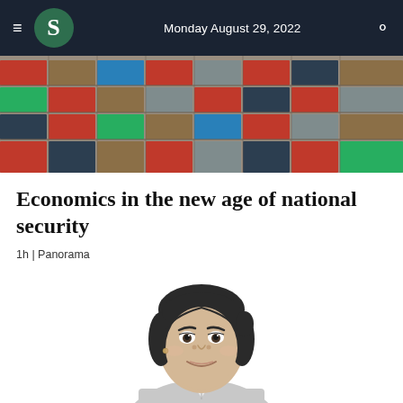Monday August 29, 2022
[Figure (photo): Stacked colorful shipping containers at a port]
Economics in the new age of national security
1h | Panorama
[Figure (illustration): Black and white line illustration portrait of a young woman with dark hair pulled back, wearing a blazer]